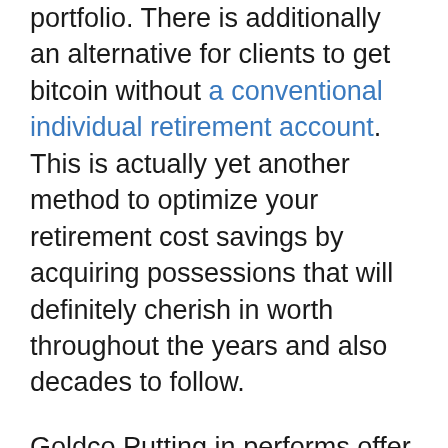portfolio. There is additionally an alternative for clients to get bitcoin without a conventional individual retirement account. This is actually yet another method to optimize your retirement cost savings by acquiring possessions that will definitely cherish in worth throughout the years and also decades to follow.
Goldco Putting in performs offer a variety of options to accommodate any finances and spending style. They use economical alternatives in a number of financial investment categories including assets as well as bonds, gold and silver, and all major economic expenditure suppliers including TIAACREF, Vanguard, Charles Schwab, and also Admiral Funds. This implies you may